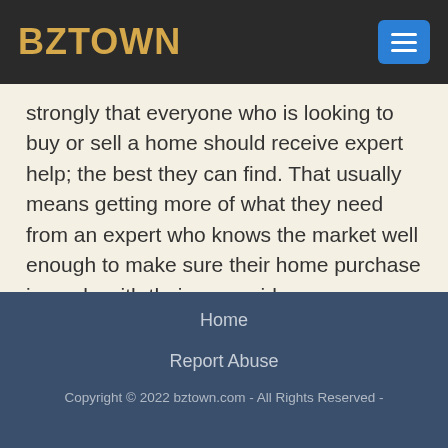BZTOWN
strongly that everyone who is looking to buy or sell a home should receive expert help; the best they can find. That usually means getting more of what they need from an expert who knows the market well enough to make sure their home purchase is made with their eyes wide open.
Home
Report Abuse
Copyright © 2022 bztown.com - All Rights Reserved -